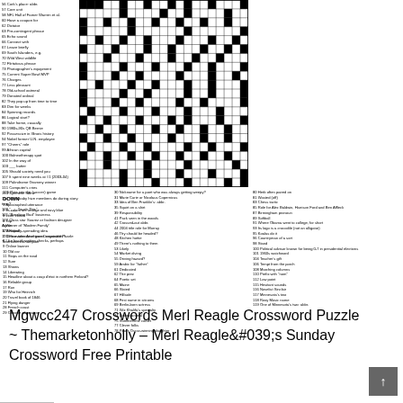[Figure (other): Crossword puzzle grid, partially filled, with black and white squares and small clue numbers]
56 Cork's place: abbr.
57 Core unit
58 NFL Hall of Famer Warren et al.
60 Have a coupon for
62 Dictator
63 Pre-contingent phrase
65 Echo sound
66 Connect with
67 Leave briefly
69 South Islanders, e.g.
70 Wild West wildlife
72 Flirtatious phrase
73 Photographer's equipment
75 Current Super Bowl MVP
76 Charges
77 Less pleasant
78 Old-school oatmeal
79 Donated ordinal
82 They pop up from time to time
83 Dim for weeks
84 Spinning records
86 Logical start?
88 Take home, casually
90 1980s-90s QB Bernie
92 Possessive in Illinois history
94 Nobel former U.N. employee
97 "Cheers" role
99 African capital
100 Balneotherapy spot
102 In the way of
103 ___ butter
105 Should society need you
107 It spent nine weeks at #1 (2003-04)
109 Palindrome Grammy winner
111 Computer's cries
113 Synthetic fabric
114 What baby hive members do during story time?
120 "___ Touch This"
121 "Breaking Bad" business
122 Class star Suarez or fashion designer Agran
123 Rapidly-spreading idea
124 Four-time American Crossword Puzzle Tournament champion
125 Puts into the (soccer) game
DOWN
1 Apostrophed utterance
2 Its colors are orange and navy blue
3 Litter clutter
4 Top
5 Winner of "Modern Family"
6 Wedded
7 Club made out of green vegetables?
8 Like hastily written checks, perhaps
9 Online banner
10 Old car
11 Stops on the road
12 Sure
13 Shows
14 Liberating
15 Headline about a coup d'etat in northern Finland?
16 Reliable group
17 Run
19 Who for Heinrich
20 Travel book of 1846
21 Flying danger
28 French coast
29 Chrome alternative
30 Nickname for a poet who was always getting weepy?
31 Marie Curie or Nicolaus Copernicus
33 Idea of Ben Franklin's: abbr.
35 Squirt on a shirt
39 Responsibility
41 Pack seen in the woods
42 Crossed-out abbr.
44 2004 title role for Murray
46 Thy should be headed?
48 Kitchen hottie
49 There's nothing to them
53 Likely
54 Market diving
55 Driving hazard?
59 Arabic for "father"
61 Dedicated
62 The prez
64 Poetic set
65 Maine
66 Slated
67 Hillside
68 First name in sitcoms
69 Berlin-born actress
71 Wiz Khalifa's specialty
74 Zodiac animal
75 Summertime cooler
77 Clever folks
78 Paul's Oscar-winning daughter
80 Herb often paired on
81 Wasted (off)
83 Chess tactic
85 Role for Alec Baldwin, Harrison Ford and Ben Affleck
87 Birmingham pronoun
89 Softball
91 Where Obama went to college, for short
93 Its logo is a crocodile (not an alligator)
95 Koalas do it
96 Countryman of a sort
98 Stand
100 Political advisor known for being 0-7 in presidential elections
101 1960s watchword
104 Teacher's gift
106 Tempt from the porch
108 Marching columns
110 Prefix with "nom"
112 Low point
115 Hesitant sounds
116 Novelist Sinclair
117 Minnesota's two
118 Roxy Music name
119 One of Minnesota's two: abbr.
Mgwcc247 Crosswords Merl Reagle Crossword Puzzle ~ Themarketonholly – Merl Reagle&#039;s Sunday Crossword Free Printable